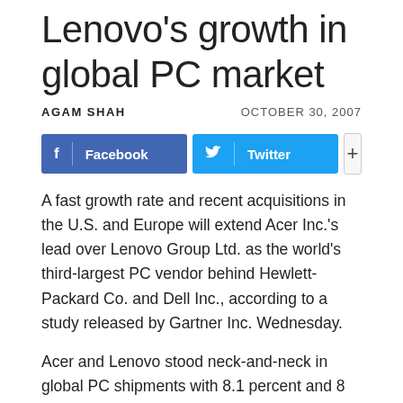Lenovo's growth in global PC market
AGAM SHAH   OCTOBER 30, 2007
[Figure (other): Social sharing buttons: Facebook, Twitter, and a plus/more button]
A fast growth rate and recent acquisitions in the U.S. and Europe will extend Acer Inc.'s lead over Lenovo Group Ltd. as the world's third-largest PC vendor behind Hewlett-Packard Co. and Dell Inc., according to a study released by Gartner Inc. Wednesday.
Acer and Lenovo stood neck-and-neck in global PC shipments with 8.1 percent and 8 percent market shares, respectively, in the third quarter of 2007. Before acquisitions, Acer shipped 5.54 million PC units and Lenovo had the 50...